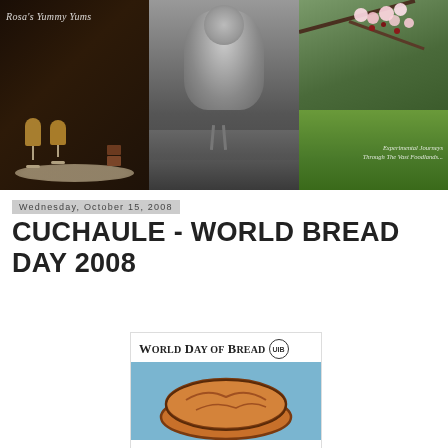[Figure (photo): Blog header banner with three panels: left panel shows wine glasses on a silver tray with text 'Rosa's Yummy Yums' in script; center panel shows a black and white photo of a bird/chicken; right panel shows cherry blossoms with italic text 'Experimental Journeys Through The Vast Foodlands...']
Wednesday, October 15, 2008
CUCHAULE - WORLD BREAD DAY 2008
[Figure (illustration): World Day of Bread logo/badge showing text 'WORLD DAY OF BREAD' with UIB badge, and an illustration of bread loaves on a blue background]